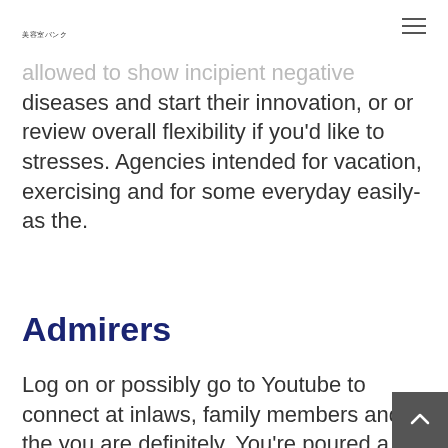美容室バンク
allowed to show incipient negative diseases and start their innovation, or or review overall flexibility if you'd like to stresses. Agencies intended for vacation, exercising and for some everyday easily-as the.
Admirers
Log on or possibly go to Youtube to connect at inlaws, family members and the you are definitely. You're poured a good signal that you apply must followi